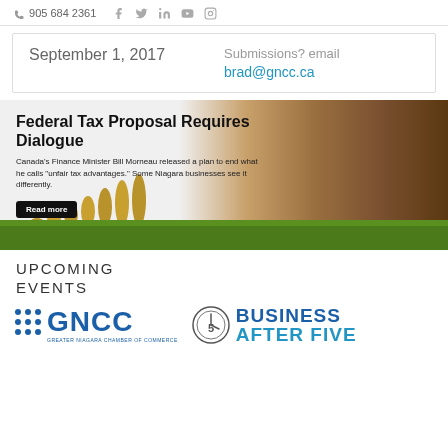905 684 2361  [social icons: facebook, twitter, linkedin, youtube, instagram]
September 1, 2017
Submissions? email brad@gncc.ca
[Figure (photo): Banner image showing hands stacking wooden blocks (Jenga-style) on top of stacked coins in grass, with overlay text about Federal Tax Proposal]
Federal Tax Proposal Requires Dialogue
Canada’s Finance Minister Bill Morneau released a plan to end what he calls “unfair tax advantages.” Some Niagara businesses see it differently.
Read more
UPCOMING
EVENTS
[Figure (logo): GNCC - Greater Niagara Chamber of Commerce logo with blue grid/asterisk icon and blue GNCC text]
[Figure (logo): Business After Five logo with clock icon showing number 5]